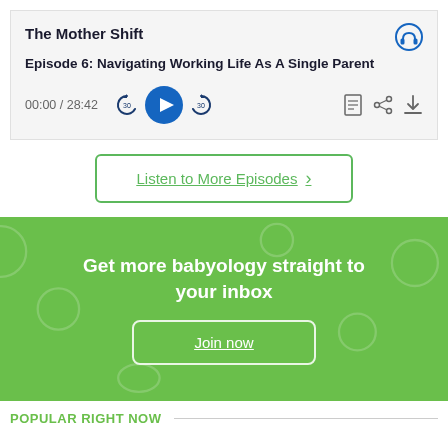The Mother Shift
Episode 6: Navigating Working Life As A Single Parent
00:00 / 28:42
[Figure (screenshot): Podcast player controls with rewind 30s, play button, forward 30s, transcript, share, and download icons]
Listen to More Episodes >
Get more babyology straight to your inbox
Join now
POPULAR RIGHT NOW